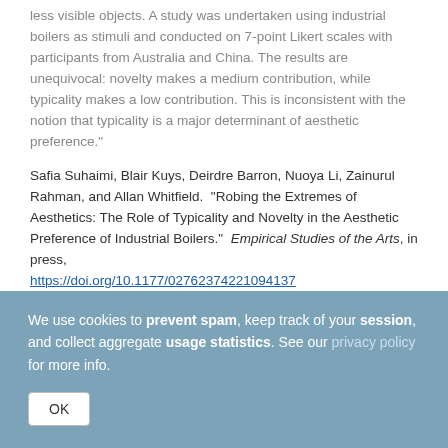less visible objects. A study was undertaken using industrial boilers as stimuli and conducted on 7-point Likert scales with participants from Australia and China. The results are unequivocal: novelty makes a medium contribution, while typicality makes a low contribution. This is inconsistent with the notion that typicality is a major determinant of aesthetic preference."
Safia Suhaimi, Blair Kuys, Deirdre Barron, Nuoya Li, Zainurul Rahman, and Allan Whitfield.  "Robing the Extremes of Aesthetics: The Role of Typicality and Novelty in the Aesthetic Preference of Industrial Boilers."  Empirical Studies of the Arts, in press, https://doi.org/10.1177/02762374221094137
We use cookies to prevent spam, keep track of your session, and collect aggregate usage statistics. See our privacy policy for more info.
OK